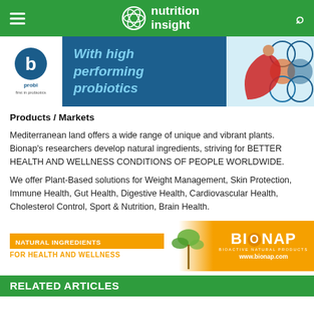nutrition insight
[Figure (infographic): Probi probiotics advertisement banner with acrobatic figure in red outfit on right side and 'With high performing probiotics' text in teal/white italic font on dark blue background]
Products / Markets
Mediterranean land offers a wide range of unique and vibrant plants. Bionap's researchers develop natural ingredients, striving for BETTER HEALTH AND WELLNESS CONDITIONS OF PEOPLE WORLDWIDE.
We offer Plant-Based solutions for Weight Management, Skin Protection, Immune Health, Gut Health, Digestive Health, Cardiovascular Health, Cholesterol Control, Sport & Nutrition, Brain Health.
[Figure (infographic): Bionap advertisement banner with orange background, text 'NATURAL INGREDIENTS FOR HEALTH AND WELLNESS', plant/lemon illustration, and Bionap logo with www.bionap.com]
RELATED ARTICLES